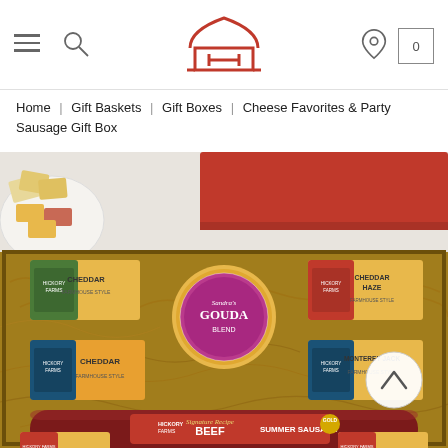Hickory Farms website navigation bar with hamburger menu, search icon, Hickory Farms logo, location pin, and cart (0)
Home | Gift Baskets | Gift Boxes | Cheese Favorites & Party Sausage Gift Box
[Figure (photo): Hickory Farms Cheese Favorites & Party Sausage Gift Box product photo showing an open red gift box with shredded paper filler containing multiple cheese packages (Cheddar, Cheddar Haze, Cheddar, Monterey Jack), a round Gouda wheel, and a Hickory Farms Beef Summer Sausage log in the center, with crackers and cheese on a plate in the upper left background.]